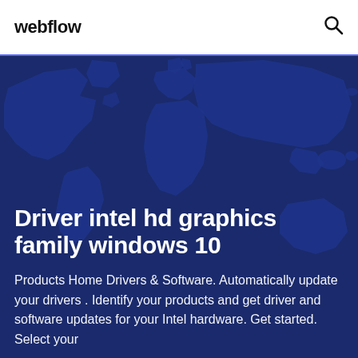webflow
Driver intel hd graphics family windows 10
Products Home Drivers & Software. Automatically update your drivers . Identify your products and get driver and software updates for your Intel hardware. Get started. Select your